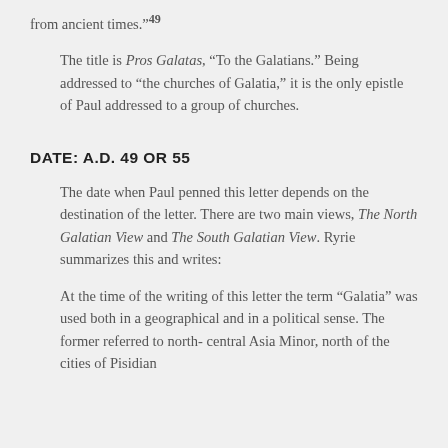from ancient times.”⁴⁹
The title is Pros Galatas, “To the Galatians.” Being addressed to “the churches of Galatia,” it is the only epistle of Paul addressed to a group of churches.
DATE: A.D. 49 OR 55
The date when Paul penned this letter depends on the destination of the letter. There are two main views, The North Galatian View and The South Galatian View. Ryrie summarizes this and writes:
At the time of the writing of this letter the term “Galatia” was used both in a geographical and in a political sense. The former referred to north-central Asia Minor, north of the cities of Pisidian